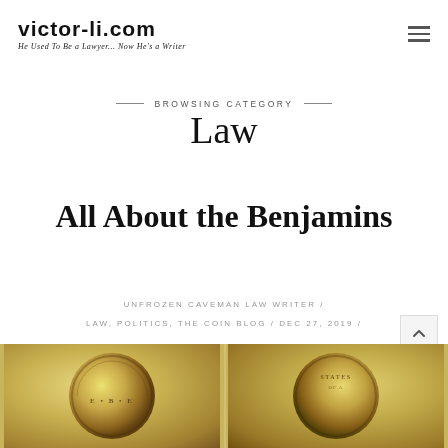victor-li.com | He Used To Be a Lawyer... Now He's a Writer
BROWSING CATEGORY
Law
All About the Benjamins
UNFROZEN CAVEMAN LAW WRITER /
LAW, POLITICS, THE COIN BLOG / DEC 27, 2019 /
[Figure (photo): Close-up photograph of gold coins showing partial inscriptions]